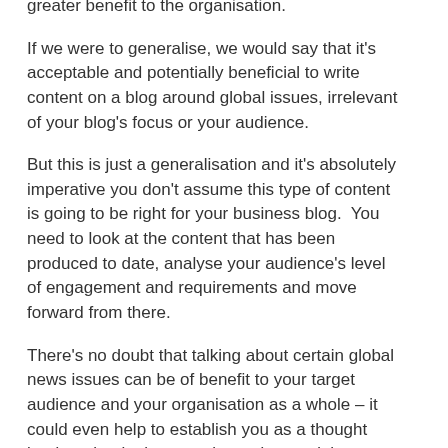greater benefit to the organisation.
If we were to generalise, we would say that it's acceptable and potentially beneficial to write content on a blog around global issues, irrelevant of your blog's focus or your audience.
But this is just a generalisation and it's absolutely imperative you don't assume this type of content is going to be right for your business blog.  You need to look at the content that has been produced to date, analyse your audience's level of engagement and requirements and move forward from there.
There's no doubt that talking about certain global news issues can be of benefit to your target audience and your organisation as a whole – it could even help to establish you as a thought leader – but it also must be understood that, simply put, your target audience might not want to hear what you've got to say on the matter.